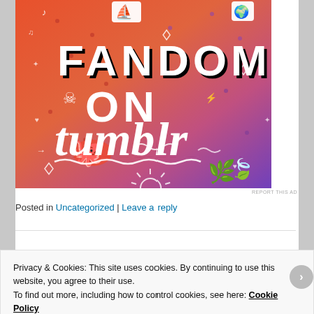[Figure (illustration): Colorful gradient banner image (orange to purple) with white hand-drawn doodles, stickers, and bold text reading 'FANDOM ON tumblr']
REPORT THIS AD
Posted in Uncategorized | Leave a reply
Privacy & Cookies: This site uses cookies. By continuing to use this website, you agree to their use.
To find out more, including how to control cookies, see here: Cookie Policy
Close and accept